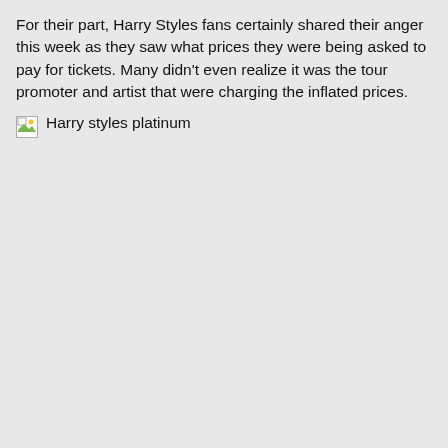For their part, Harry Styles fans certainly shared their anger this week as they saw what prices they were being asked to pay for tickets. Many didn't even realize it was the tour promoter and artist that were charging the inflated prices.
[Figure (photo): Broken image placeholder with alt text 'Harry styles platinum']